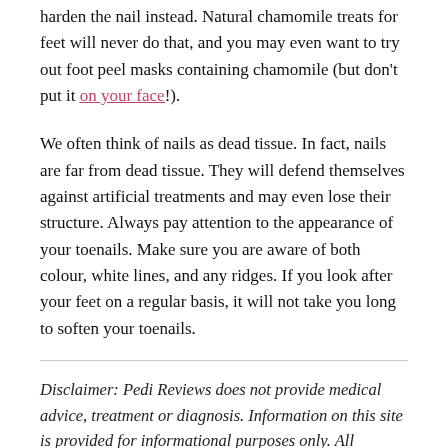harden the nail instead. Natural chamomile treats for feet will never do that, and you may even want to try out foot peel masks containing chamomile (but don't put it on your face!).
We often think of nails as dead tissue. In fact, nails are far from dead tissue. They will defend themselves against artificial treatments and may even lose their structure. Always pay attention to the appearance of your toenails. Make sure you are aware of both colour, white lines, and any ridges. If you look after your feet on a regular basis, it will not take you long to soften your toenails.
Disclaimer: Pedi Reviews does not provide medical advice, treatment or diagnosis. Information on this site is provided for informational purposes only. All suggestions on this site should be discussed with your